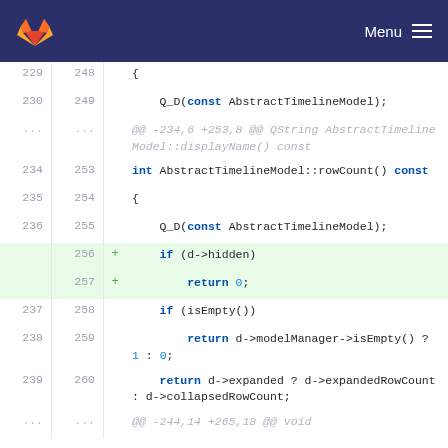GitLab — Menu
[Figure (screenshot): GitLab code diff view showing changes to AbstractTimelineModel C++ source file. Lines 229-260 displayed with old/new line numbers, added lines 256-257 highlighted in green showing: '+ if (d->hidden)' and '+ return 0;'. Other context lines show Q_D(const AbstractTimelineModel); declarations, int AbstractTimelineModel::rowCount() const function, and return statements with ternary operators.]